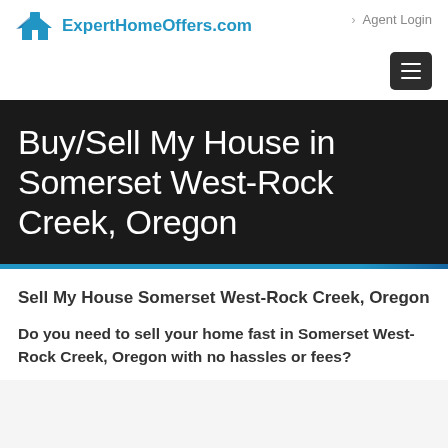ExpertHomeOffers.com
> Agent Login
Buy/Sell My House in Somerset West-Rock Creek, Oregon
Sell My House Somerset West-Rock Creek, Oregon
Do you need to sell your home fast in Somerset West-Rock Creek, Oregon with no hassles or fees?